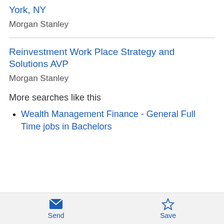York, NY
Morgan Stanley
Reinvestment Work Place Strategy and Solutions AVP
Morgan Stanley
More searches like this
Wealth Management Finance - General Full Time jobs in Bachelors
Send   Save